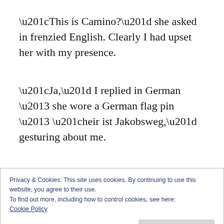“This is Camino?” she asked in frenzied English. Clearly I had upset her with my presence.
“Ja,” I replied in German – she wore a German flag pin – “heir ist Jakobsweg,” gesturing about me.
Still greatly confused, but excited about the prospect of chattering in German, she hurriedly
Privacy & Cookies: This site uses cookies. By continuing to use this website, you agree to their use.
To find out more, including how to control cookies, see here:
Cookie Policy
Close and accept
is pretty bad, and deeper concepts such as